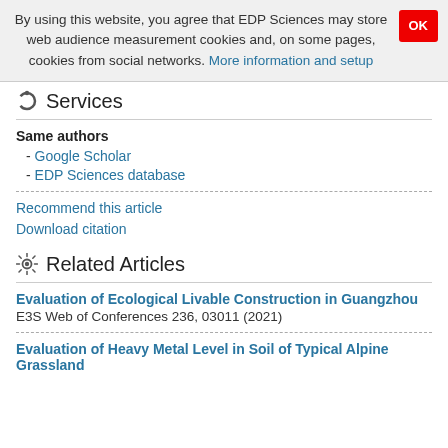By using this website, you agree that EDP Sciences may store web audience measurement cookies and, on some pages, cookies from social networks. More information and setup
Services
Same authors
- Google Scholar
- EDP Sciences database
Recommend this article
Download citation
Related Articles
Evaluation of Ecological Livable Construction in Guangzhou
E3S Web of Conferences 236, 03011 (2021)
Evaluation of Heavy Metal Level in Soil of Typical Alpine Grassland